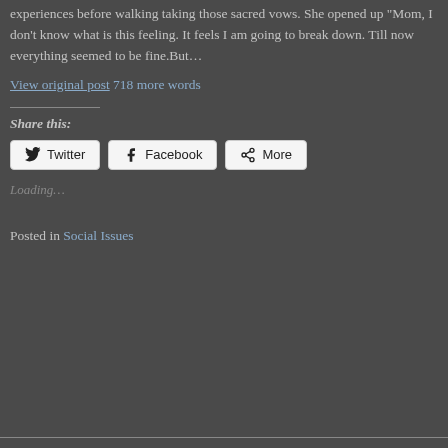experiences before walking taking those sacred vows. She opened up “Mom, I don’t know what is this feeling. It feels I am going to break down. Till now everything seemed to be fine.But…
View original post 718 more words
Share this:
Twitter Facebook More
Loading…
Posted in Social Issues